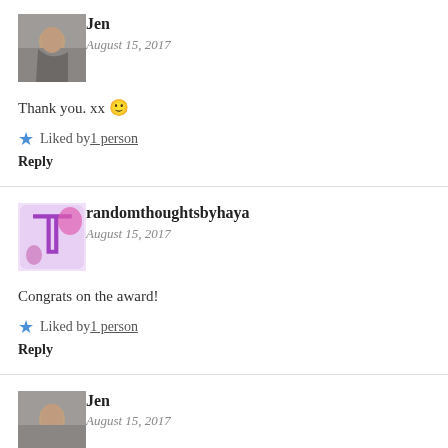[Figure (photo): Profile photo of Jen, side profile of a woman]
Jen
August 15, 2017
Thank you. xx 🙂
⭐ Liked by 1 person
Reply
[Figure (illustration): Avatar for randomthoughtsbyhaya - stylized T letter with purple/pink design]
randomthoughtsbyhaya
August 15, 2017
Congrats on the award!
⭐ Liked by 1 person
Reply
[Figure (photo): Profile photo of Jen, side profile of a woman]
Jen
August 15, 2017
Thank you, hun. xx 🙂